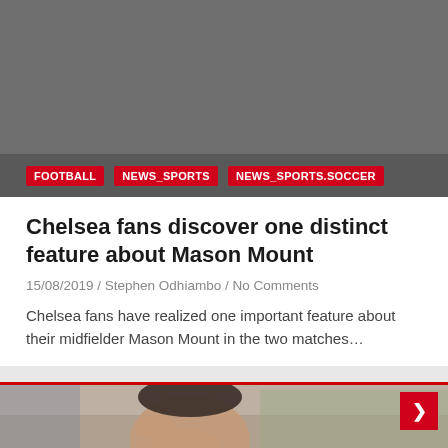[Figure (photo): Gray placeholder area for a top banner image]
FOOTBALL   NEWS_SPORTS   NEWS_SPORTS.SOCCER
Chelsea fans discover one distinct feature about Mason Mount
15/08/2019 / Stephen Odhiambo / No Comments
Chelsea fans have realized one important feature about their midfielder Mason Mount in the two matches…
[Figure (photo): Photograph of a man (likely Frank Lampard) touching his temple, with a blurred crowd in the background]